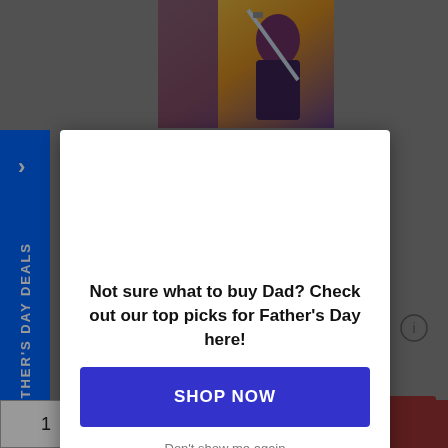[Figure (screenshot): E-commerce webpage showing a Dragon Ball manga product page with a Father's Day promotional modal overlay. The modal contains text and a blue shop now button.]
FATHER'S DAY DEALS
Not sure what to buy Dad? Check out our top picks for Father's Day here!
SHOP NOW
Don't show me again
Want to click and collect? Check store availability
1
Add to Cart